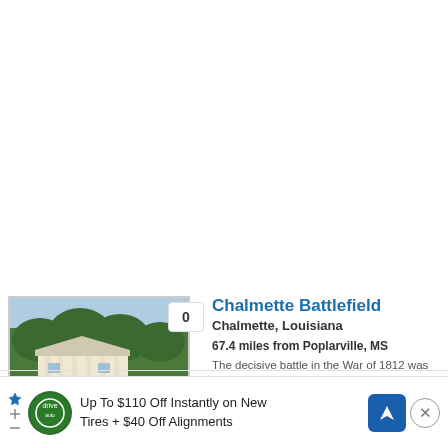[Figure (photo): Thumbnail photo of Chalmette Battlefield showing a white plantation house with columns, green lawn, and trees. A badge showing '0' is in the top-right corner of the thumbnail.]
Chalmette Battlefield
Chalmette, Louisiana
67.4 miles from Poplarville, MS
The decisive battle in the War of 1812 was fought here, an unnecessary battle in the minds of some, as the war was essentially over. The lives lost were essentially wasted. Do soldiers who died still haunt this ground?
Read more »
[Figure (illustration): Partial thumbnail for The Lookout Inn showing a ghost cartoon illustration on a grey background. A badge showing '0' is in the top-right corner.]
The Lookout Inn
New Orleans, Louisiana
Up To $110 Off Instantly on New Tires + $40 Off Alignments